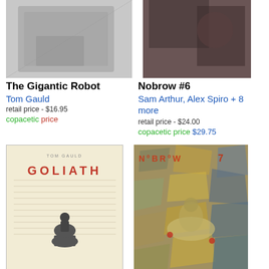[Figure (photo): Partial top image of The Gigantic Robot book cover - grey/silver tones]
[Figure (photo): Partial top image of Nobrow #6 book cover - dark tones]
The Gigantic Robot
Tom Gauld
retail price - $16.95
copacetic price
Nobrow #6
Sam Arthur, Alex Spiro + 8 more
retail price - $24.00
copacetic price $29.75
[Figure (photo): Goliath book cover - cream colored with red GOLIATH title and figure illustration]
[Figure (photo): NoBrow #7 book cover - colorful chaotic illustrated design]
Goliath
Tom Gauld
retail price - $19.99
copacetic price $17.77
NoBrow #7
Michael DeForge, Joseph Lambert + 6 more
retail price - $24.00